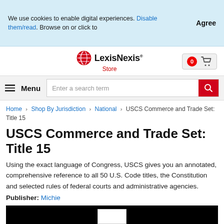We use cookies to enable digital experiences. Disable them/read. Browse on or click to
Agree
[Figure (logo): LexisNexis Store logo with red globe icon]
[Figure (other): Shopping cart with 0 items badge]
Menu
Enter a search term
Home > Shop By Jurisdiction > National > USCS Commerce and Trade Set: Title 15
USCS Commerce and Trade Set: Title 15
Using the exact language of Congress, USCS gives you an annotated, comprehensive reference to all 50 U.S. Code titles, the Constitution and selected rules of federal courts and administrative agencies.
Publisher: Michie
[Figure (photo): Product image strip showing book cover partially visible on black background]